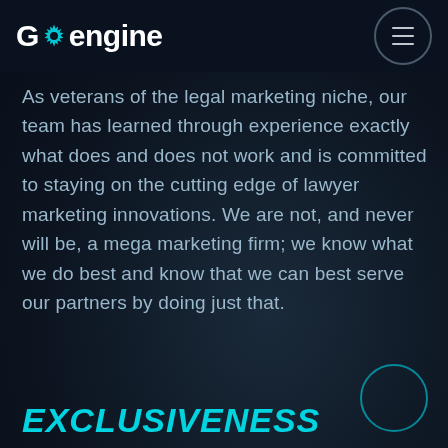Goengine
As veterans of the legal marketing niche, our team has learned through experience exactly what does and does not work and is committed to staying on the cutting edge of lawyer marketing innovations. We are not, and never will be, a mega marketing firm; we know what we do best and know that we can best serve our partners by doing just that.
EXCLUSIVENESS